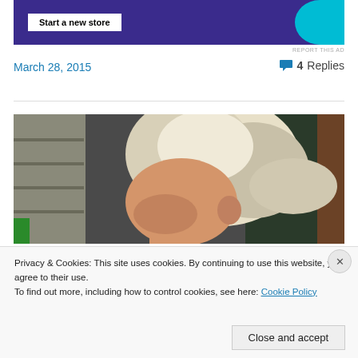[Figure (other): Advertisement banner with dark purple background, 'Start a new store' button, and cyan circle shape]
REPORT THIS AD
March 28, 2015
4 Replies
[Figure (photo): Close-up photo of a woman with blonde/white hair seen from the side/back, indoor setting]
Privacy & Cookies: This site uses cookies. By continuing to use this website, you agree to their use.
To find out more, including how to control cookies, see here: Cookie Policy
Close and accept